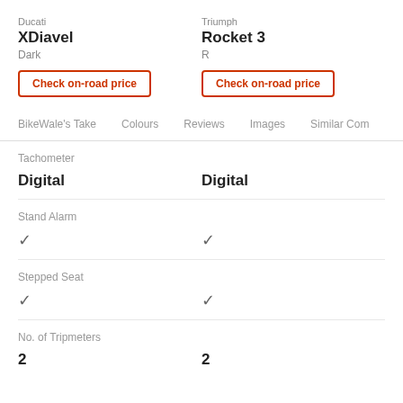Ducati
XDiavel
Dark
Triumph
Rocket 3
R
Check on-road price
Check on-road price
BikeWale's Take   Colours   Reviews   Images   Similar Com
| Feature | Ducati XDiavel | Triumph Rocket 3 |
| --- | --- | --- |
| Tachometer | Digital | Digital |
| Stand Alarm | ✓ | ✓ |
| Stepped Seat | ✓ | ✓ |
| No. of Tripmeters | 2 | 2 |